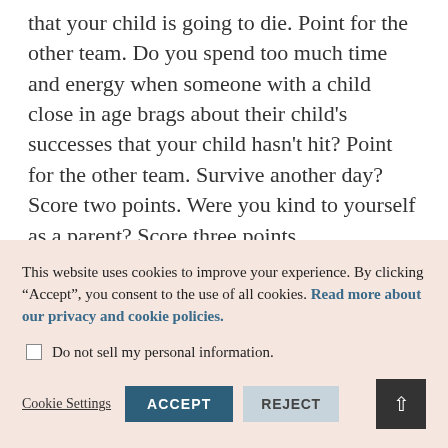that your child is going to die. Point for the other team. Do you spend too much time and energy when someone with a child close in age brags about their child's successes that your child hasn't hit? Point for the other team. Survive another day? Score two points. Were you kind to yourself as a parent? Score three points.

So for all of you, regardless of what round you are currently in, I wish you the very best, I am rooting for you!
This website uses cookies to improve your experience. By clicking “Accept”, you consent to the use of all cookies. Read more about our privacy and cookie policies.
☐ Do not sell my personal information.